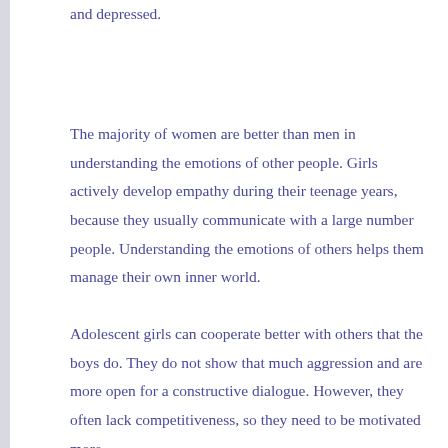and depressed.
The majority of women are better than men in understanding the emotions of other people. Girls actively develop empathy during their teenage years, because they usually communicate with a large number people. Understanding the emotions of others helps them manage their own inner world.
Adolescent girls can cooperate better with others that the boys do. They do not show that much aggression and are more open for a constructive dialogue. However, they often lack competitiveness, so they need to be motivated more.